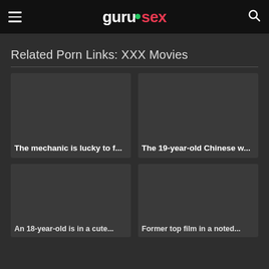gurusex
Related Porn Links: XXX Movies
The mechanic is lucky to f...
The 19-year-old Chinese w...
An 18-year-old is in a cute...
Former top film in a noted...